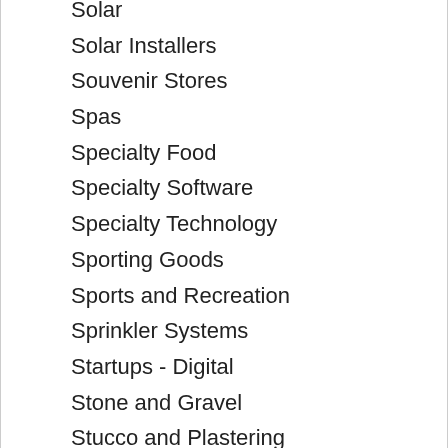Solar
Solar Installers
Souvenir Stores
Spas
Specialty Food
Specialty Software
Specialty Technology
Sporting Goods
Sports and Recreation
Sprinkler Systems
Startups - Digital
Stone and Gravel
Stucco and Plastering
Student Housing
Stump Removal